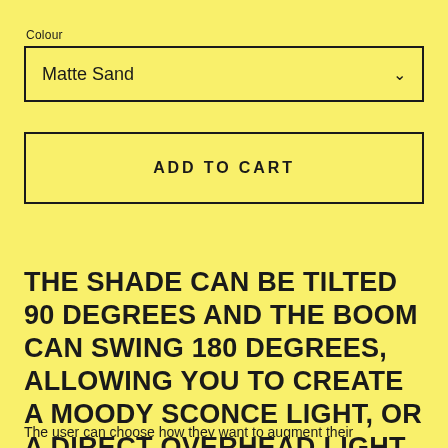Colour
Matte Sand
ADD TO CART
THE SHADE CAN BE TILTED 90 DEGREES AND THE BOOM CAN SWING 180 DEGREES, ALLOWING YOU TO CREATE A MOODY SCONCE LIGHT, OR A DIRECT OVERHEAD LIGHT.
The user can choose how they want to augment their